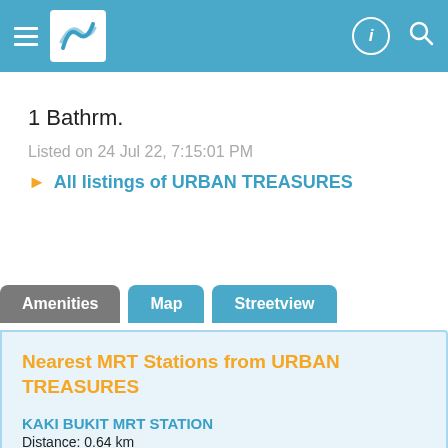[Figure (screenshot): Top navigation bar with hamburger menu, logo, info icon, and search icon on teal background]
1 Bathrm.
Listed on 24 Jul 22, 7:15:01 PM
▶ All listings of URBAN TREASURES
Amenities  Map  Streetview
Nearest MRT Stations from URBAN TREASURES
KAKI BUKIT MRT STATION
Distance: 0.64 km